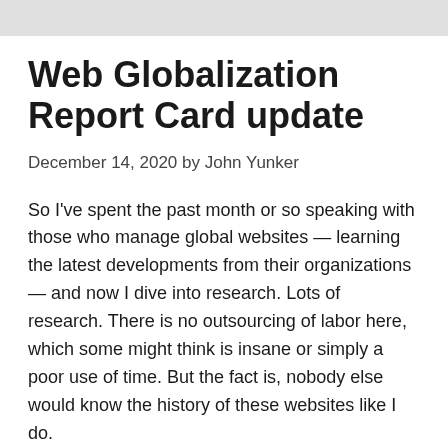Web Globalization Report Card update
December 14, 2020 by John Yunker
So I've spent the past month or so speaking with those who manage global websites — learning the latest developments from their organizations — and now I dive into research. Lots of research. There is no outsourcing of labor here, which some might think is insane or simply a poor use of time. But the fact is, nobody else would know the history of these websites like I do.